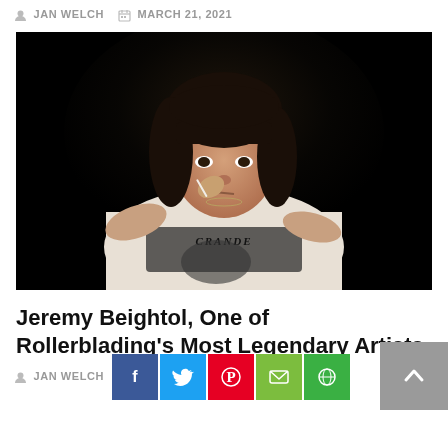JAN WELCH   MARCH 21, 2021
[Figure (photo): Photo of Jeremy Beightol, a young man with dark shaggy hair and bangs, wearing a white graphic t-shirt with gothic lettering, smoking, against a black background.]
Jeremy Beightol, One of Rollerblading's Most Legendary Artists
JAN WELCH   M...